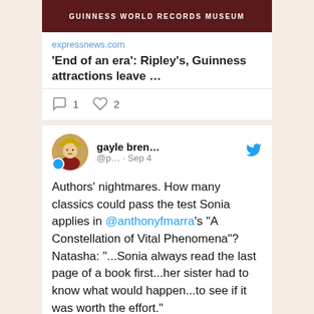[Figure (photo): Guinness World Records Museum banner image with dark red/maroon background and white text]
expressnews.com
'End of an era': Ripley's, Guinness attractions leave ...
1   2
gayle bren... @p... · Sep 4
Authors' nightmares. How many classics could pass the test Sonia applies in @anthonyfmarra's "A Constellation of Vital Phenomena"? Natasha: "...Sonia always read the last page of a book first...her sister had to know what would happen...to see if it was worth the effort."